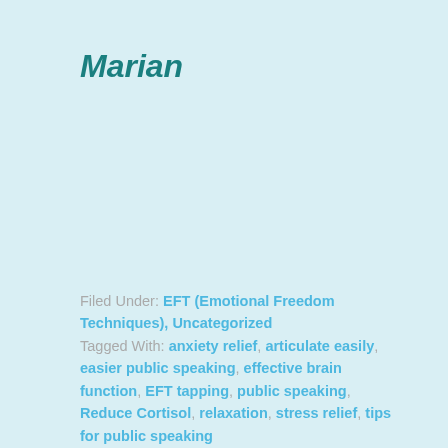Marian
Filed Under: EFT (Emotional Freedom Techniques), Uncategorized
Tagged With: anxiety relief, articulate easily, easier public speaking, effective brain function, EFT tapping, public speaking, Reduce Cortisol, relaxation, stress relief, tips for public speaking